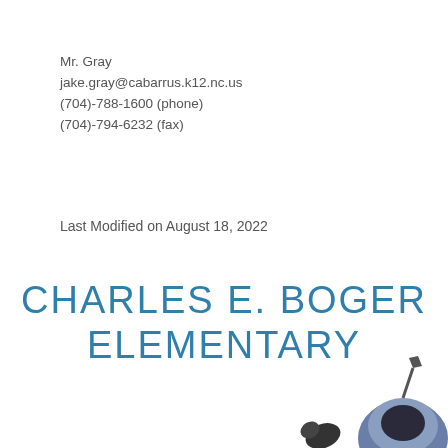Mr. Gray
jake.gray@cabarrus.k12.nc.us
(704)-788-1600 (phone)
(704)-794-6232 (fax)
Last Modified on August 18, 2022
CHARLES E. BOGER ELEMENTARY
[Figure (illustration): Partial cartoon illustration of a character visible at the bottom-right corner of the page]